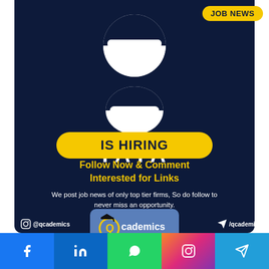[Figure (logo): Tata Group logo — white circular emblem with two T-shaped cutouts on dark navy background, with white bold text TATA below]
JOB NEWS
IS HIRING
Follow Now & Comment Interested for Links
We post job news of only top tier firms, So do follow to never miss an opportunity.
[Figure (logo): Qcademics.com logo — Q with graduation cap on blue-grey background]
@qcademics
/qcademics
[Figure (infographic): Social media bar with Facebook, LinkedIn, WhatsApp, Instagram, and Telegram icons]